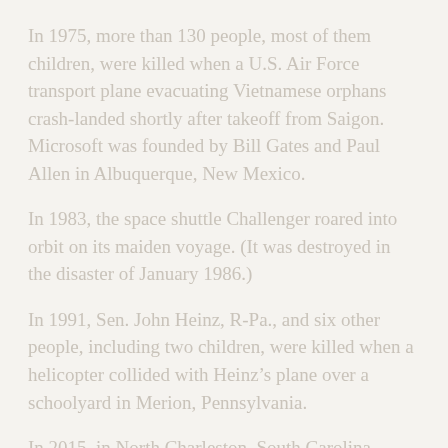In 1975, more than 130 people, most of them children, were killed when a U.S. Air Force transport plane evacuating Vietnamese orphans crash-landed shortly after takeoff from Saigon. Microsoft was founded by Bill Gates and Paul Allen in Albuquerque, New Mexico.
In 1983, the space shuttle Challenger roared into orbit on its maiden voyage. (It was destroyed in the disaster of January 1986.)
In 1991, Sen. John Heinz, R-Pa., and six other people, including two children, were killed when a helicopter collided with Heinz’s plane over a schoolyard in Merion, Pennsylvania.
In 2015, in North Charleston, South Carolina, Walter Scott, a 50-year-old Black motorist, was shot to death while running away from a traffic stop; Officer Michael Thomas Slager, seen in a cellphone video opening fire at Scott, was charged with murder. (The charge, which lingered after a